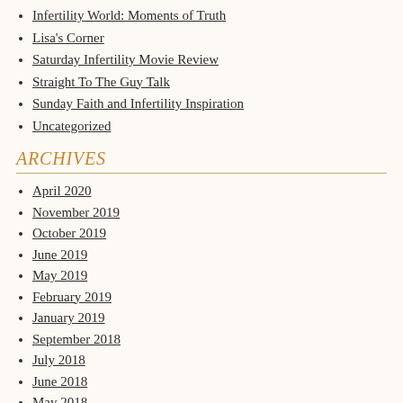Infertility World: Moments of Truth
Lisa's Corner
Saturday Infertility Movie Review
Straight To The Guy Talk
Sunday Faith and Infertility Inspiration
Uncategorized
ARCHIVES
April 2020
November 2019
October 2019
June 2019
May 2019
February 2019
January 2019
September 2018
July 2018
June 2018
May 2018
April 2018